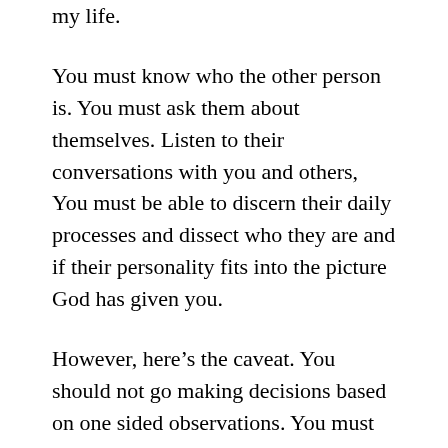my life.
You must know who the other person is. You must ask them about themselves. Listen to their conversations with you and others, You must be able to discern their daily processes and dissect who they are and if their personality fits into the picture God has given you.
However, here’s the caveat. You should not go making decisions based on one sided observations. You must ask the other person what God has told them about themselves. Take note of it. And then go to God who created them and ask God, “Who is this